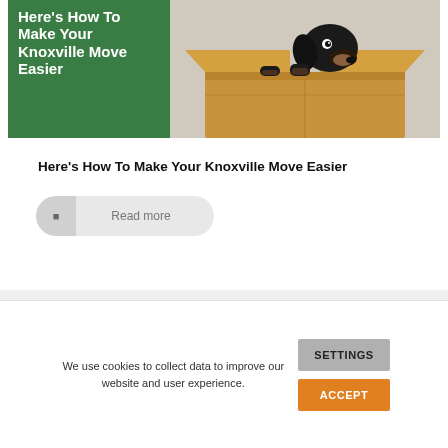[Figure (photo): Banner image showing a dachshund dog sitting inside a cardboard moving box, with green background on the left side containing bold white text 'Here's How To Make Your Knoxville Move Easier']
Here's How To Make Your Knoxville Move Easier
Read more
We use cookies to collect data to improve our website and user experience.
SETTINGS
ACCEPT